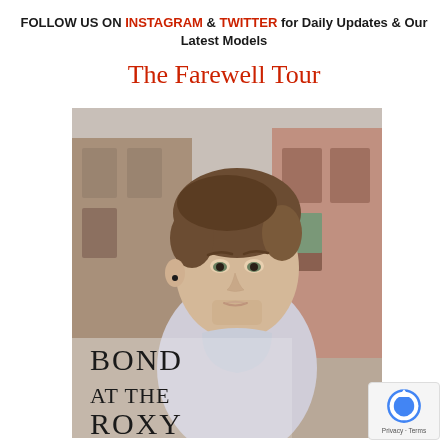FOLLOW US ON INSTAGRAM & TWITTER for Daily Updates & Our Latest Models
The Farewell Tour
[Figure (photo): Book cover for 'Bond at the Roxy' showing a young man with brown hair in a light blue t-shirt, photographed against an urban brick building background. Text overlay reads 'BOND AT THE ROXY' in large letters at the bottom.]
[Figure (logo): Google reCAPTCHA badge with circular arrow logo and 'Privacy · Terms' text]